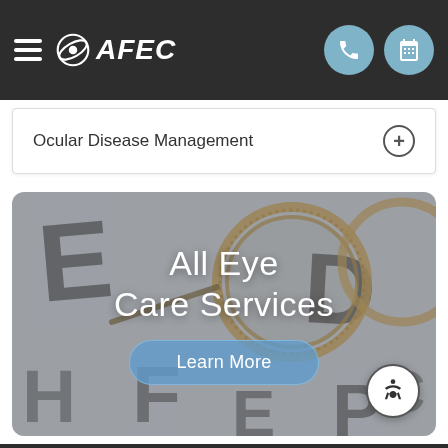AFEC - Navigation bar with menu icon, logo, phone and calendar buttons
Ocular Disease Management
[Figure (photo): Eye care examination equipment (trial lens frames) placed on top of an eye chart with large black letters, overlaid with text 'All Eye Care Services' and a 'Learn More' button]